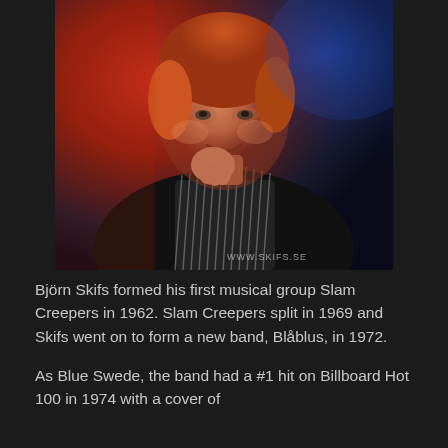[Figure (photo): Portrait photograph of Björn Skifs, a middle-aged man with reddish hair, smiling and resting his chin on his hand, wearing a striped shirt. Background has warm red/orange tones on the left and blue tones on the right. Watermark 'WWW.SKIFS.SE' in bottom right corner.]
Björn Skifs formed his first musical group Slam Creepers in 1962. Slam Creepers split in 1969 and Skifs went on to form a new band, Blåblus, in 1972.
As Blue Swede, the band had a #1 hit on Billboard Hot 100 in 1974 with a cover of